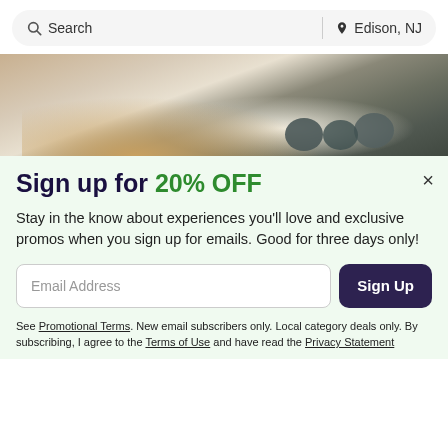Search | Edison, NJ
[Figure (photo): Person stretching or doing a physical therapy exercise in a gym with balance balls in the background]
Sign up for 20% OFF
Stay in the know about experiences you'll love and exclusive promos when you sign up for emails. Good for three days only!
Email Address [input field] Sign Up [button]
See Promotional Terms. New email subscribers only. Local category deals only. By subscribing, I agree to the Terms of Use and have read the Privacy Statement